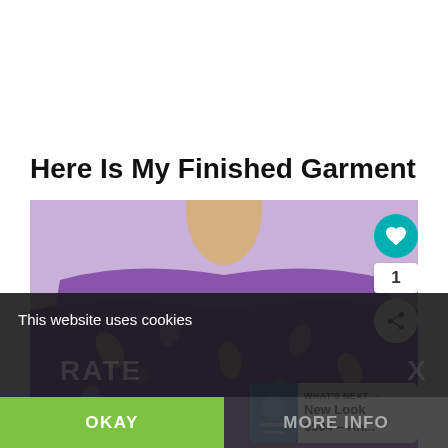Here Is My Finished Garment
[Figure (photo): Photo of a mannequin torso wearing a purple floral/leaf print blouse with a round neckline, displayed against a light background. Social media buttons (heart, share) and a 'What's Next' thumbnail panel overlay the right side of the image.]
This website uses cookies
OKAY
MORE INFO